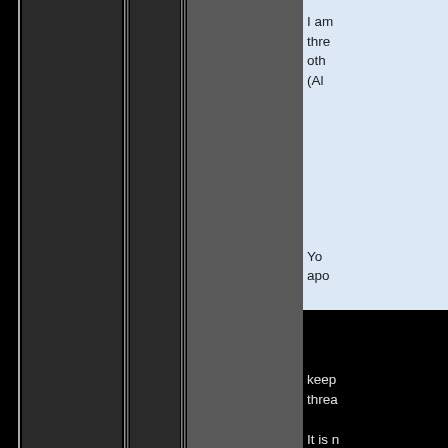[Figure (screenshot): Dark vertical stripes on black background, resembling a phone or device interface with dark columns]
I am threatening other (Al
You apo
keep threa
It is n imma
Rema